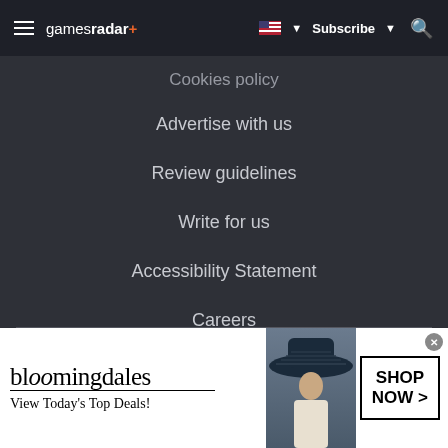gamesradar+ | Subscribe | Search
Cookies policy
Advertise with us
Review guidelines
Write for us
Accessibility Statement
Careers
Do not sell my info
[Figure (illustration): Bloomingdale's advertisement banner showing a woman in a sun hat with text 'View Today's Top Deals!' and 'SHOP NOW >' button]